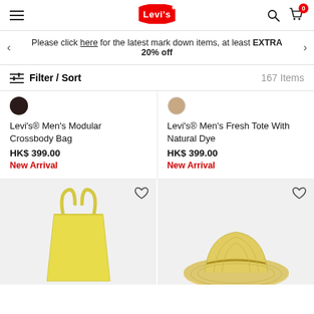Levi's header with hamburger menu, logo, search and cart icons
Please click here for the latest mark down items, at least EXTRA 20% off
Filter / Sort   167 Items
Levi's® Men's Modular Crossbody Bag
HK$ 399.00
New Arrival
Levi's® Men's Fresh Tote With Natural Dye
HK$ 399.00
New Arrival
[Figure (photo): Yellow tote bag product photo on light grey background]
[Figure (photo): Straw hat product photo on light grey background]